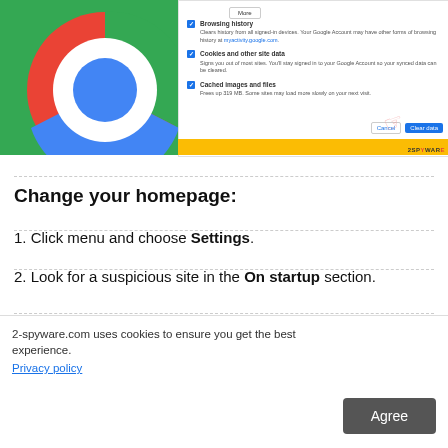[Figure (screenshot): Screenshot showing a Chrome browser 'Clear browsing data' dialog with checkboxes for Browsing history, Cookies and other site data, and Cached images and files. The left side shows the Chrome logo on a green background. A hand pointer points to the 'Clear data' button. A yellow bar with '2SPYWARE' watermark appears at the bottom.]
Change your homepage:
1. Click menu and choose Settings.
2. Look for a suspicious site in the On startup section.
3. Click on Open a specific or set of pages and click on
2-spyware.com uses cookies to ensure you get the best experience.
Privacy policy
Agree